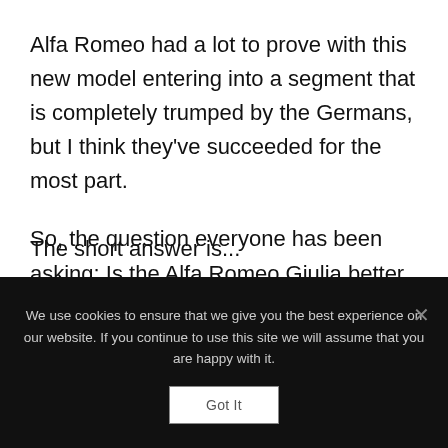Alfa Romeo had a lot to prove with this new model entering into a segment that is completely trumped by the Germans, but I think they've succeeded for the most part.
So, the question everyone has been asking: Is the Alfa Romeo Giulia better than its German (and British for that matter) counterparts?
The short answer is...
We use cookies to ensure that we give you the best experience on our website. If you continue to use this site we will assume that you are happy with it.